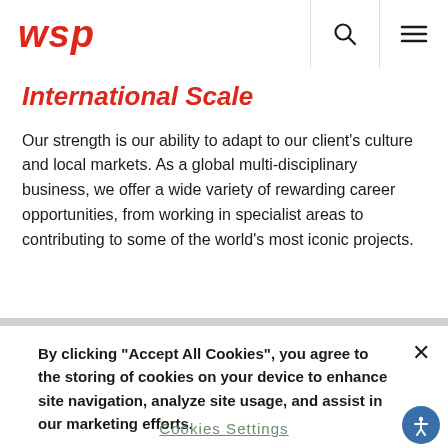wsp
International Scale
Our strength is our ability to adapt to our client's culture and local markets. As a global multi-disciplinary business, we offer a wide variety of rewarding career opportunities, from working in specialist areas to contributing to some of the world's most iconic projects.
By clicking “Accept All Cookies”, you agree to the storing of cookies on your device to enhance site navigation, analyze site usage, and assist in our marketing efforts.
Cookies Settings